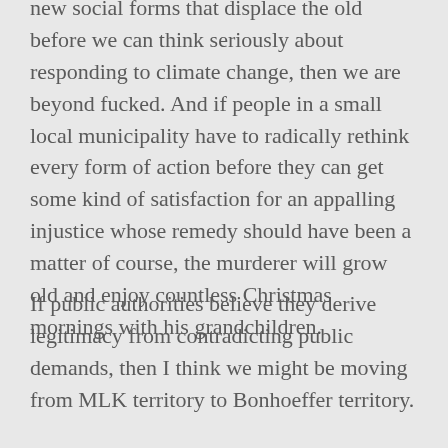new social forms that displace the old before we can think seriously about responding to climate change, then we are beyond fucked. And if people in a small local municipality have to radically rethink every form of action before they can get some kind of satisfaction for an appalling injustice whose remedy should have been a matter of course, the murderer will grow old and enjoy countless Christmas mornings with his grandchildren.
If public authorities believe they derive legitimacy from contradicting public demands, then I think we might be moving from MLK territory to Bonhoeffer territory.